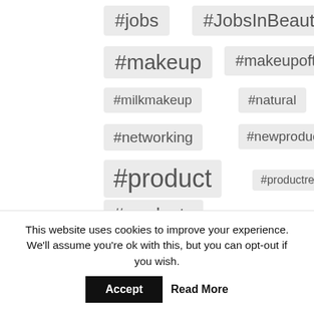[Figure (infographic): Tag cloud of hashtags including #jobs, #JobsInBeauty, #makeup, #makeupoftheday, #milkmakeup, #natural, #networking, #newproduct, #product, #productreview, #products, #recruitment, #review, #science, #scs, #Self development, #skincare, #thebodyshop, #work, shown as pill-shaped tags at varying font sizes]
This website uses cookies to improve your experience. We'll assume you're ok with this, but you can opt-out if you wish.
Accept
Read More